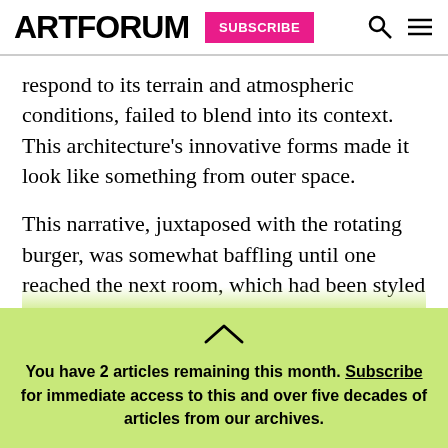ARTFORUM SUBSCRIBE
respond to its terrain and atmospheric conditions, failed to blend into its context. This architecture's innovative forms made it look like something from outer space.
This narrative, juxtaposed with the rotating burger, was somewhat baffling until one reached the next room, which had been styled as a typical American diner, complete with black-and-white tiled floors, a
You have 2 articles remaining this month. Subscribe for immediate access to this and over five decades of articles from our archives.